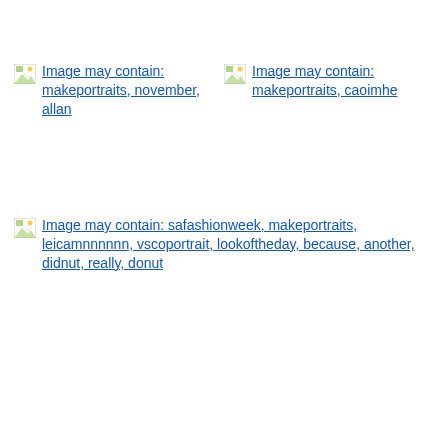[Figure (photo): Broken image placeholder with link text: Image may contain: makeportraits, november, allan]
[Figure (photo): Broken image placeholder with link text: Image may contain: makeportraits, caoimhe]
[Figure (photo): Broken image placeholder with link text: Image may contain: safashionweek, makeportraits, leicamnnnnnn, vscoportrait, lookoftheday, because, another, didnut, really, donut]